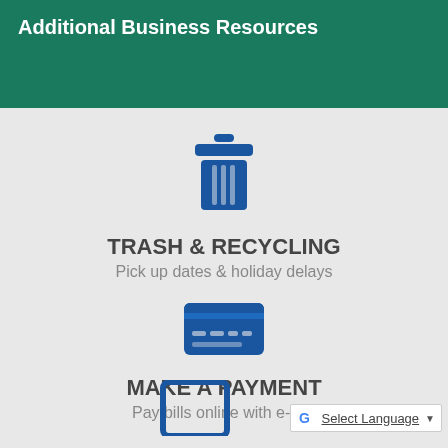Additional Business Resources
[Figure (illustration): Blue trash/recycling bin icon]
TRASH & RECYCLING
Pick up dates & holiday delays
[Figure (illustration): Blue credit card icon]
MAKE A PAYMENT
Pay bills online with e-pay
[Figure (illustration): Blue tablet/device icon (partially visible)]
Select Language